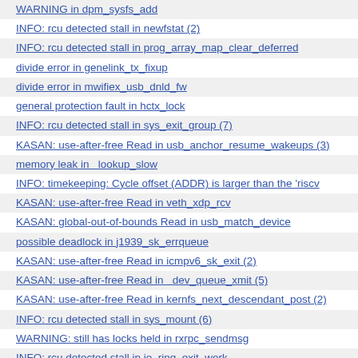WARNING in dpm_sysfs_add
INFO: rcu detected stall in newfstat (2)
INFO: rcu detected stall in prog_array_map_clear_deferred
divide error in genelink_tx_fixup
divide error in mwifiex_usb_dnld_fw
general protection fault in hctx_lock
INFO: rcu detected stall in sys_exit_group (7)
KASAN: use-after-free Read in usb_anchor_resume_wakeups (3)
memory leak in __lookup_slow
INFO: timekeeping: Cycle offset (ADDR) is larger than the 'riscv
KASAN: use-after-free Read in veth_xdp_rcv
KASAN: global-out-of-bounds Read in usb_match_device
possible deadlock in j1939_sk_errqueue
KASAN: use-after-free Read in icmpv6_sk_exit (2)
KASAN: use-after-free Read in __dev_queue_xmit (5)
KASAN: use-after-free Read in kernfs_next_descendant_post (2)
INFO: rcu detected stall in sys_mount (6)
WARNING: still has locks held in rxrpc_sendmsg
INFO: rcu detected stall in io_ring_exit_work
KASAN: use-after-free Read in kernfs_add_one
WARNING: ODEBUG bug in blk_mq_hw_sysfs_release